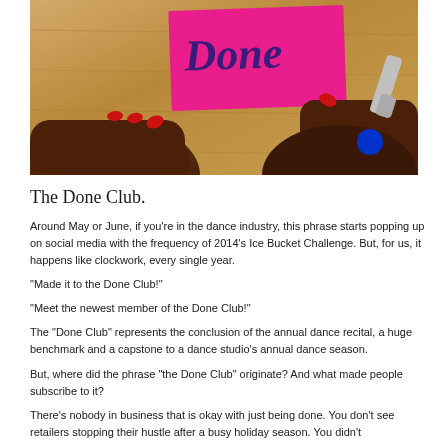[Figure (photo): A person with red-painted fingernails writing the word 'Done' in cursive on a pink sticky note, placed on a wooden surface. Another hand holds the note. A blue-capped pen is visible on the right.]
The Done Club.
Around May or June, if you’re in the dance industry, this phrase starts popping up on social media with the frequency of 2014’s Ice Bucket Challenge. But, for us, it happens like clockwork, every single year.
“Made it to the Done Club!”
“Meet the newest member of the Done Club!”
The “Done Club” represents the conclusion of the annual dance recital, a huge benchmark and a capstone to a dance studio’s annual dance season.
But, where did the phrase “the Done Club” originate? And what made people subscribe to it?
There’s nobody in business that is okay with just being done. You don’t see retailers stopping their hustle after a busy holiday season. You didn’t